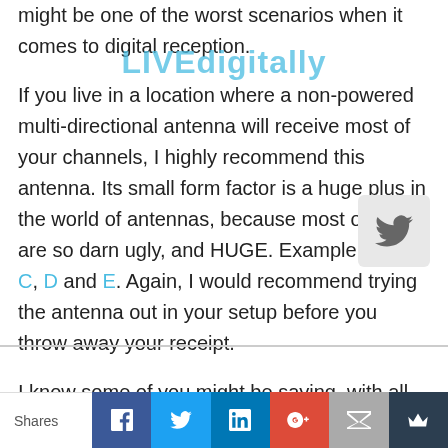might be one of the worst scenarios when it comes to digital reception.
[Figure (logo): LIVEdigitally watermark/logo in blue text overlaid on the article]
[Figure (other): Twitter share button - grey rounded square with white Twitter bird icon]
If you live in a location where a non-powered multi-directional antenna will receive most of your channels, I highly recommend this antenna. Its small form factor is a huge plus in the world of antennas, because most of them are so darn ugly, and HUGE. Example A, B, C, D and E. Again, I would recommend trying the antenna out in your setup before you throw away your receipt.
I know some of you might be saying, with all this hassle of signal, and “drop off” why would I even want to bother with this whole HD antenna deal? As mentioned before, the two positives are no monthly payments, and uncompressed HD quality. But the real question is, whether or not either of those two are worth it, if your signal drops out
Shares | Facebook | Twitter | LinkedIn | Google+ | Email | Crown